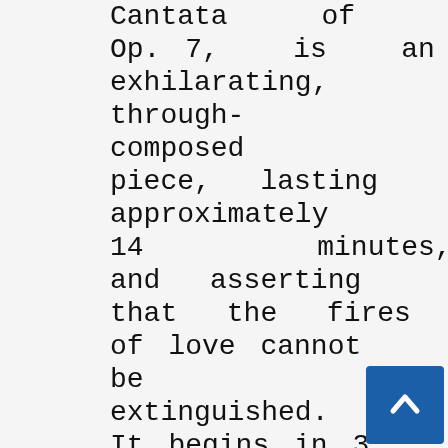Cantata of Op. 7, is an exhilarating, through-composed piece, lasting approximately 14 minutes, and asserting that the fires of love cannot be extinguished. It begins in 3 with a typical Passacaglia formula in the continuo which
[Figure (other): Scroll-to-top button with upward arrow chevron, dark blue background]